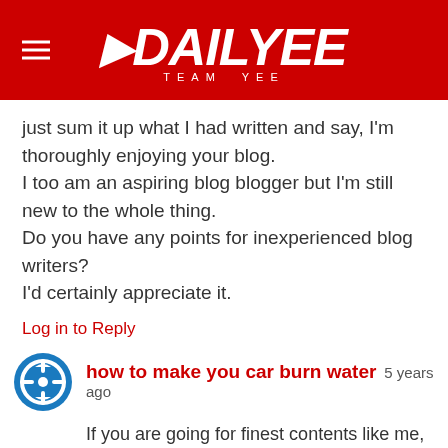DAILYEE TEAM YEE
just sum it up what I had written and say, I'm thoroughly enjoying your blog.
I too am an aspiring blog blogger but I'm still new to the whole thing.
Do you have any points for inexperienced blog writers?
I'd certainly appreciate it.
Log in to Reply
how to make you car burn water  5 years ago
If you are going for finest contents like me, simply visit this site every day as it gives quality contents, thanks
Log in to Reply
water car  5 years ago